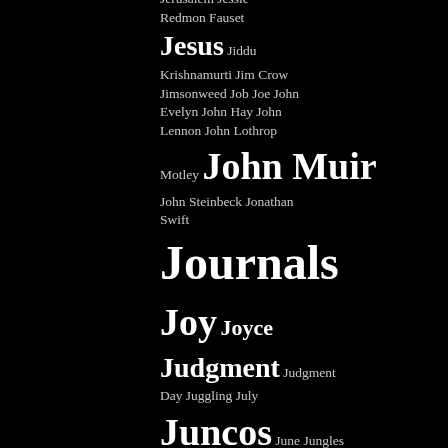Jerusalem Jessie Redmon Fauset Jesus Jiddu Krishnamurti Jim Crow Jimsonweed Job Joe John Evelyn John Hay John Lennon John Lothrop Motley John Muir John Steinbeck Jonathan Swift Journals Joy Joyce Judgment Judgment Day Juggling July Juncos June Jungles Junipers Jupiter Justice Keats Kerouac Kindness Kingdoms Kingsburg Kirk Kisses Kissing Kittens Knowledge Kobayashi Issa L'Abrinthe